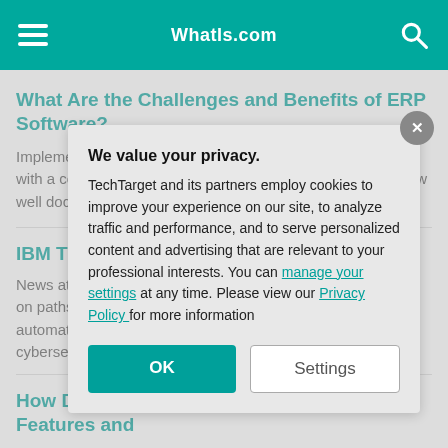WhatIs.com
What Are the Challenges and Benefits of ERP Software?
Implementing enterprise resource planning (ERP) will come with a collection of benefits and challenges depending on how well documented the software is.
IBM Think 20… news, trends…
News at the IBM… on paths to mod… automation -- IoT… cybersecurity.
How Does an… Features and…
ERP…
[Figure (screenshot): Privacy consent modal dialog overlay on the WhatIs.com page. Title: 'We value your privacy.' Body text describes TechTarget cookie usage with links to 'manage your settings' and 'Privacy Policy'. Two buttons: OK (teal) and Settings (outlined).]